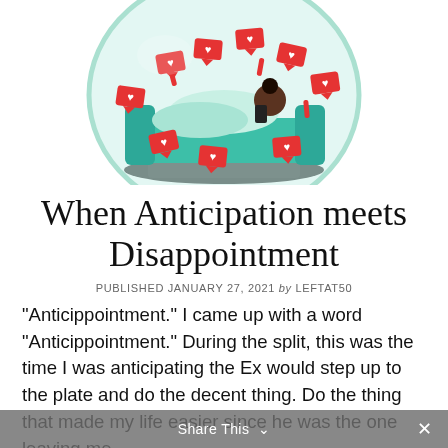[Figure (illustration): A snow globe illustration containing a person lying on a teal couch under a blanket, using a phone, surrounded by floating social media notification icons (hearts/likes) in red.]
When Anticipation meets Disappointment
PUBLISHED JANUARY 27, 2021 by LEFTAT50
“Anticippointment.” I came up with a word “Anticippointment.” During the split, this was the time I was anticipating the Ex would step up to the plate and do the decent thing. Do the thing that made my life easier since he was the one leaving me.
Share This ∨